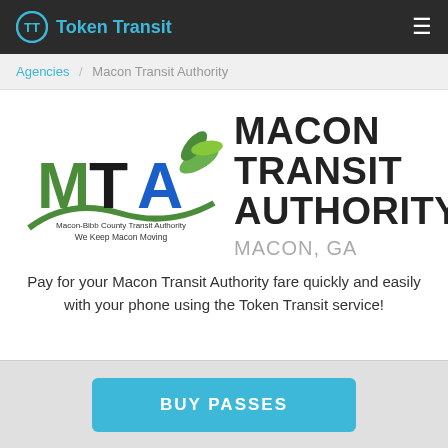Token Transit
Agencies / Macon Transit Authority
[Figure (logo): MTA Macon-Bibb County Transit Authority logo with green leaves and text 'We Keep Macon Moving']
MACON TRANSIT AUTHORITY
MACON, GA
Pay for your Macon Transit Authority fare quickly and easily with your phone using the Token Transit service!
BUY PASSES